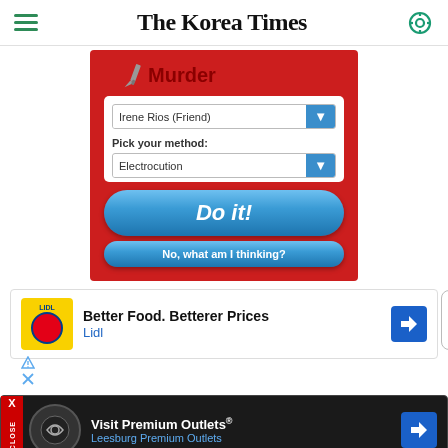The Korea Times
[Figure (screenshot): Mobile app screenshot showing a game called 'Murder' with red background, a knife icon, a dropdown for 'Irene Rios (Friend)', a 'Pick your method:' dropdown set to 'Electrocution', a blue 'Do it!' button, and a 'No, what am I thinking?' button]
[Figure (screenshot): Lidl advertisement: 'Better Food. Betterer Prices' with Lidl logo and navigation arrow icon]
[Figure (screenshot): Premium Outlets advertisement: 'Visit Premium Outlets®' for Leesburg Premium Outlets with circular logo and navigation arrow, shown on dark background with close X button]